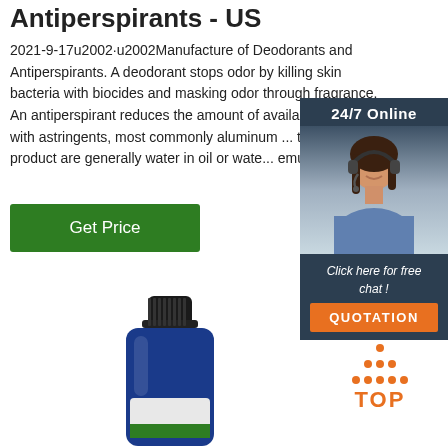Antiperspirants - US
2021-9-17u2002·u2002Manufacture of Deodorants and Antiperspirants. A deodorant stops odor by killing skin bacteria with biocides and masking odor through fragrance. An antiperspirant reduces the amount of available w... skin with astringents, most commonly aluminum ... types of product are generally water in oil or wate... emulsions ...
Get Price
[Figure (photo): Customer service representative with headset, with 24/7 Online label, 'Click here for free chat!' text, and QUOTATION button in dark blue panel]
[Figure (photo): Blue bottle of antiperspirant/deodorant product]
[Figure (logo): TOP logo with orange dots in triangle shape above orange TOP text]